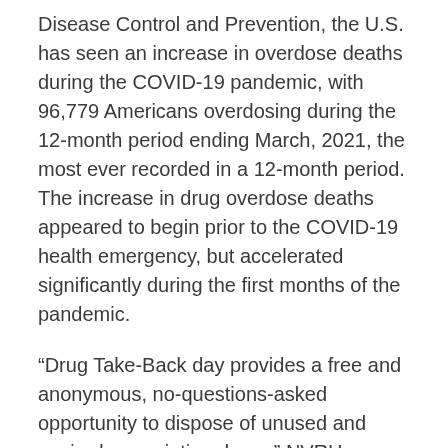Disease Control and Prevention, the U.S. has seen an increase in overdose deaths during the COVID-19 pandemic, with 96,779 Americans overdosing during the 12-month period ending March, 2021, the most ever recorded in a 12-month period. The increase in drug overdose deaths appeared to begin prior to the COVID-19 health emergency, but accelerated significantly during the first months of the pandemic.
“Drug Take-Back day provides a free and anonymous, no-questions-asked opportunity to dispose of unused and expired prescription drugs,” NVRH Substance Misuse Prevention Coordinator Christina Plazek said. “Please, join us in making our community a safer place for everyone.”